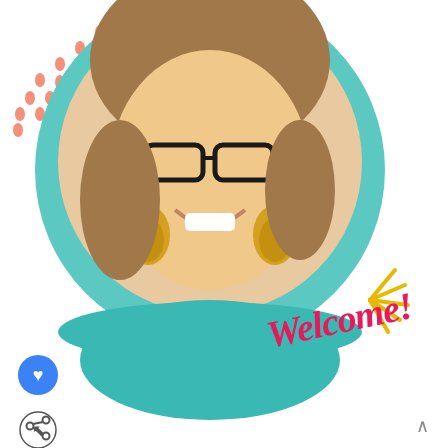[Figure (photo): Screenshot of a blog/website page. A woman with glasses and golden macrame earrings smiling in a circular portrait with a teal background. Decorative salmon-colored dots in the top-left corner, yellow burst lines on the right, and stylized pink cursive 'Welcome!' text overlay. A blue heart icon button and a share button are on the left side. A 'What's Next' banner shows 'Dollar Tree DIY Mini Macram...' with a thumbnail image. Partial body text reads '...the crafty lady behind Marching North. I love sharing step-by-step craft tutorials including...' and a dark ad banner at the bottom reads 'SHE CAN STEM | Learn More' with STEM and Ad Council logos.]
the crafty lady behind Marching North. I love sharing step-by-step craft tutorials including,
SHE CAN STEM  Learn More